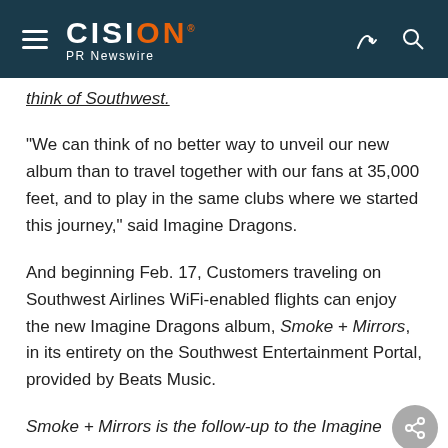CISION PR Newswire
think of Southwest.
"We can think of no better way to unveil our new album than to travel together with our fans at 35,000 feet, and to play in the same clubs where we started this journey," said Imagine Dragons.
And beginning Feb. 17, Customers traveling on Southwest Airlines WiFi-enabled flights can enjoy the new Imagine Dragons album, Smoke + Mirrors, in its entirety on the Southwest Entertainment Portal, provided by Beats Music.
Smoke + Mirrors is the follow-up to the Imagine